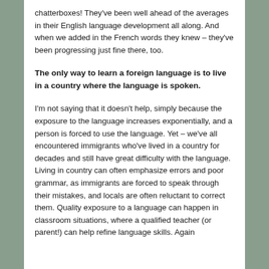chatterboxes! They've been well ahead of the averages in their English language development all along. And when we added in the French words they knew – they've been progressing just fine there, too.
The only way to learn a foreign language is to live in a country where the language is spoken.
I'm not saying that it doesn't help, simply because the exposure to the language increases exponentially, and a person is forced to use the language. Yet – we've all encountered immigrants who've lived in a country for decades and still have great difficulty with the language. Living in country can often emphasize errors and poor grammar, as immigrants are forced to speak through their mistakes, and locals are often reluctant to correct them. Quality exposure to a language can happen in classroom situations, where a qualified teacher (or parent!) can help refine language skills. Again